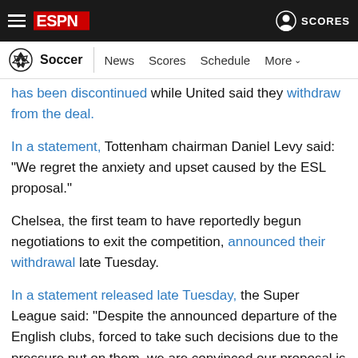ESPN - Soccer | News Scores Schedule More
has been discontinued while United said they withdraw from the deal.
In a statement, Tottenham chairman Daniel Levy said: "We regret the anxiety and upset caused by the ESL proposal."
Chelsea, the first team to have reportedly begun negotiations to exit the competition, announced their withdrawal late Tuesday.
In a statement released late Tuesday, the Super League said: "Despite the announced departure of the English clubs, forced to take such decisions due to the pressure put on them, we are convinced our proposal is fully aligned with European law and regulations as was demonstrated today by a court decision to protect the Super League from third party actions.